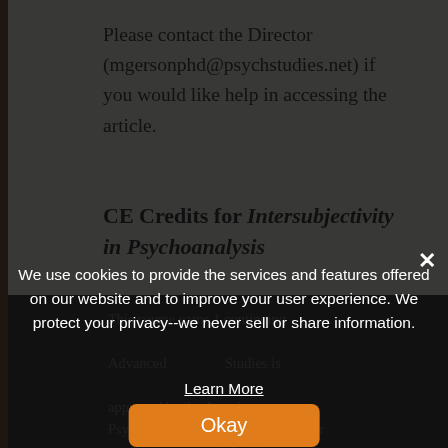Please contact the Director (mgersonphd@psychstudies.net) if you would like help in accessing the article.
CE Credits for Intersubjectivity in Psychoanalysis
This course earns 1 continuing ... Advanced ... Studies is approved by the American Psychological Association to sponsor continuing ... chologists. The Institute of Advanced
We use cookies to provide the services and features offered on our website and to improve your user experience. We protect your privacy--we never sell or share information.
Learn More
Okay